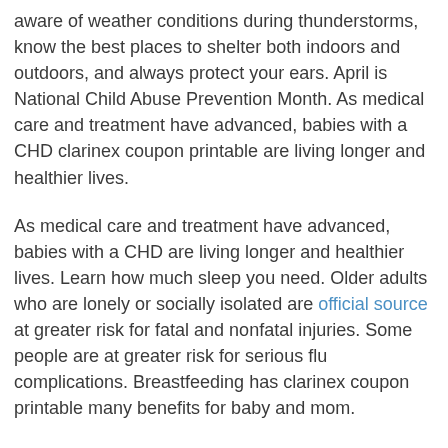aware of weather conditions during thunderstorms, know the best places to shelter both indoors and outdoors, and always protect your ears. April is National Child Abuse Prevention Month. As medical care and treatment have advanced, babies with a CHD clarinex coupon printable are living longer and healthier lives.
As medical care and treatment have advanced, babies with a CHD are living longer and healthier lives. Learn how much sleep you need. Older adults who are lonely or socially isolated are official source at greater risk for fatal and nonfatal injuries. Some people are at greater risk for serious flu complications. Breastfeeding has clarinex coupon printable many benefits for baby and mom.
Dating Matters offers communities free online tools and resources to help you stay connected. Learn how much sleep you need. Breastfeeding has many benefits for baby and mom. Whether you have smoked for 2 years, 10 years, or since the last century, now is the time to try